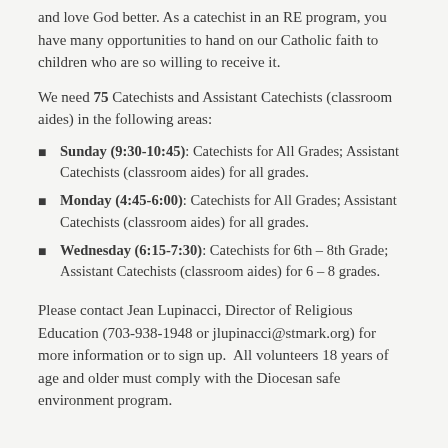and love God better. As a catechist in an RE program, you have many opportunities to hand on our Catholic faith to children who are so willing to receive it.
We need 75 Catechists and Assistant Catechists (classroom aides) in the following areas:
Sunday (9:30-10:45): Catechists for All Grades; Assistant Catechists (classroom aides) for all grades.
Monday (4:45-6:00): Catechists for All Grades; Assistant Catechists (classroom aides) for all grades.
Wednesday (6:15-7:30): Catechists for 6th – 8th Grade; Assistant Catechists (classroom aides) for 6 – 8 grades.
Please contact Jean Lupinacci, Director of Religious Education (703-938-1948 or jlupinacci@stmark.org) for more information or to sign up.  All volunteers 18 years of age and older must comply with the Diocesan safe environment program.